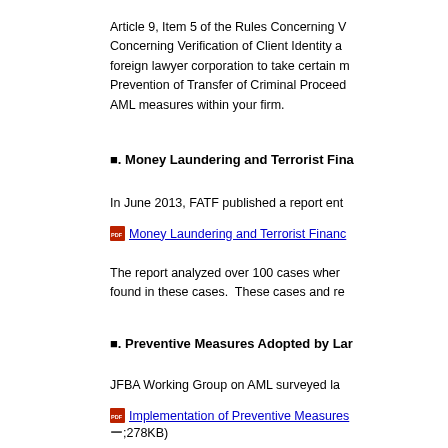Article 9, Item 5 of the Rules Concerning V... Concerning Verification of Client Identity a... foreign lawyer corporation to take certain m... Prevention of Transfer of Criminal Proceed... AML measures within your firm.
■. Money Laundering and Terrorist Fina...
In June 2013, FATF published a report ent...
Money Laundering and Terrorist Financ... (link)
The report analyzed over 100 cases wher... found in these cases.  These cases and re...
■. Preventive Measures Adopted by Lar...
JFBA Working Group on AML surveyed la...
Implementation of Preventive Measures... ペ;ージ;278KB)
Article 9 of the Rules Concerning Verificat... lawyers and registered foreign lawyer corp...